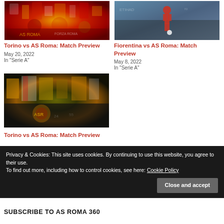[Figure (photo): AS Roma fans with flags and scarves - colorful crowd shot]
Torino vs AS Roma: Match Preview
May 20, 2022
In "Serie A"
[Figure (photo): AS Roma player in red kit on football pitch]
Fiorentina vs AS Roma: Match Preview
May 8, 2022
In "Serie A"
[Figure (photo): AS Roma fans with yellow and red flags in stadium]
Torino vs AS Roma: Match Preview
Privacy & Cookies: This site uses cookies. By continuing to use this website, you agree to their use.
To find out more, including how to control cookies, see here: Cookie Policy
Close and accept
SUBSCRIBE TO AS ROMA 360